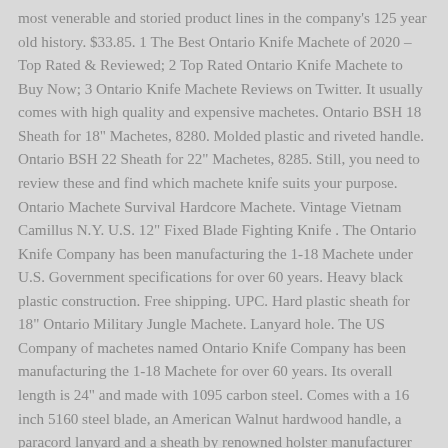most venerable and storied product lines in the company's 125 year old history. $33.85. 1 The Best Ontario Knife Machete of 2020 – Top Rated & Reviewed; 2 Top Rated Ontario Knife Machete to Buy Now; 3 Ontario Knife Machete Reviews on Twitter. It usually comes with high quality and expensive machetes. Ontario BSH 18 Sheath for 18" Machetes, 8280. Molded plastic and riveted handle. Ontario BSH 22 Sheath for 22" Machetes, 8285. Still, you need to review these and find which machete knife suits your purpose. Ontario Machete Survival Hardcore Machete. Vintage Vietnam Camillus N.Y. U.S. 12" Fixed Blade Fighting Knife . The Ontario Knife Company has been manufacturing the 1-18 Machete under U.S. Government specifications for over 60 years. Heavy black plastic construction. Free shipping. UPC. Hard plastic sheath for 18" Ontario Military Jungle Machete. Lanyard hole. The US Company of machetes named Ontario Knife Company has been manufacturing the 1-18 Machete for over 60 years. Its overall length is 24" and made with 1095 carbon steel. Comes with a 16 inch 5160 steel blade, an American Walnut hardwood handle, a paracord lanyard and a sheath by renowned holster manufacturer DeSantis®, making a machete that … Select a multi-dimensional device that you can carry during the jungle trips and even helpful for backyard garden tasks. Traduction automatique (Description - Fabricant): La machette de l'Ontario Knife Company CT2 12" sawback est faite en